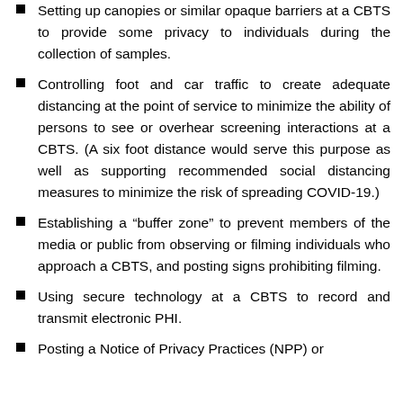Setting up canopies or similar opaque barriers at a CBTS to provide some privacy to individuals during the collection of samples.
Controlling foot and car traffic to create adequate distancing at the point of service to minimize the ability of persons to see or overhear screening interactions at a CBTS. (A six foot distance would serve this purpose as well as supporting recommended social distancing measures to minimize the risk of spreading COVID-19.)
Establishing a “buffer zone” to prevent members of the media or public from observing or filming individuals who approach a CBTS, and posting signs prohibiting filming.
Using secure technology at a CBTS to record and transmit electronic PHI.
Posting a Notice of Privacy Practices (NPP) or